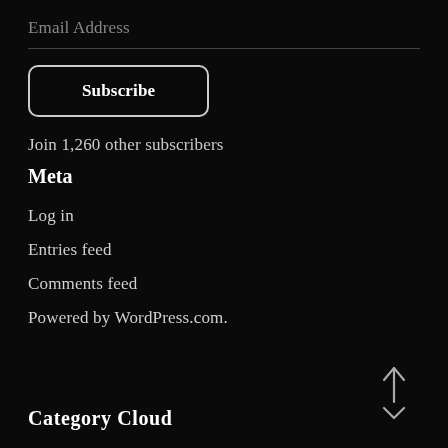Email Address
[Figure (other): Subscribe button with rounded rectangle border]
Join 1,260 other subscribers
Meta
Log in
Entries feed
Comments feed
Powered by WordPress.com.
Category Cloud